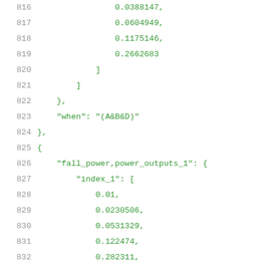Code listing lines 816-837 showing JSON data structure with numeric arrays and keys: fall_power,power_outputs_1, index_1, index_2
816:                0.0388147,
817:                0.0604949,
818:                0.1175146,
819:                0.2662683
820:            ]
821:        ]
822:    },
823:    "when": "(A&B&D)"
824:},
825:{
826:    "fall_power,power_outputs_1": {
827:        "index_1": [
828:            0.01,
829:            0.0230506,
830:            0.0531329,
831:            0.122474,
832:            0.282311,
833:            0.650743,
834:            1.5
835:        ],
836:        "index_2": [
837:            0.0005,